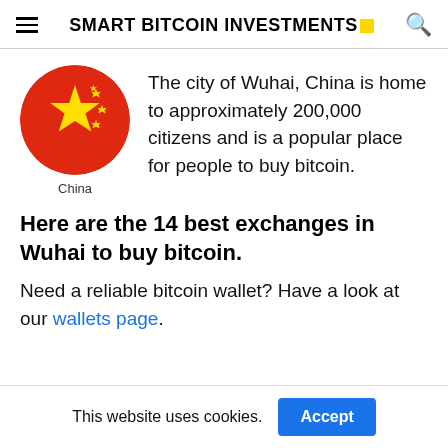SMART BITCOIN INVESTMENTS
[Figure (illustration): Chinese flag circular icon with red background and yellow stars]
China
The city of Wuhai, China is home to approximately 200,000 citizens and is a popular place for people to buy bitcoin.
Here are the 14 best exchanges in Wuhai to buy bitcoin.
Need a reliable bitcoin wallet? Have a look at our wallets page.
This website uses cookies.